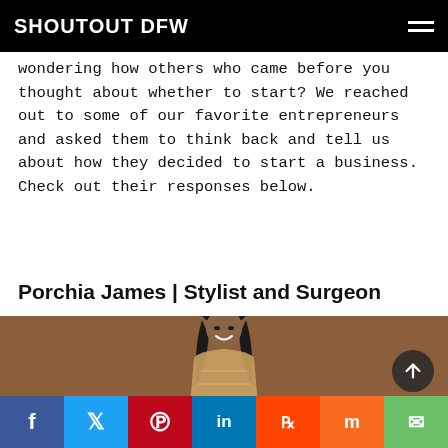SHOUTOUT DFW
wondering how others who came before you thought about whether to start? We reached out to some of our favorite entrepreneurs and asked them to think back and tell us about how they decided to start a business. Check out their responses below.
Porchia James | Stylist and Surgeon
[Figure (photo): Portrait photo of Porchia James, a woman with long straight dark hair, smiling, wearing a sparkly/sequined top, against a warm brown background.]
Social sharing bar: Facebook, Twitter, Pinterest, LinkedIn, Reddit, Mix, Email